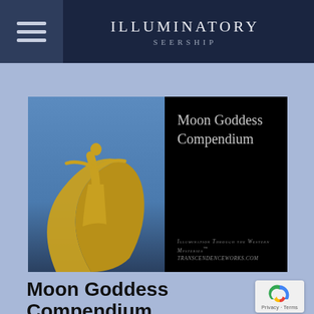Illuminatory Seership
[Figure (photo): A golden statue of a female figure standing on a crescent moon against a blue sky, paired with a dark panel reading 'Moon Goddess Compendium' and the tagline 'Illumination Through the Western Mysteries™ transcendenceworks.com']
Moon Goddess Compendium